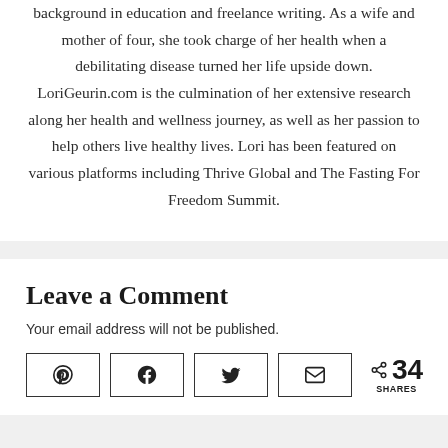background in education and freelance writing. As a wife and mother of four, she took charge of her health when a debilitating disease turned her life upside down. LoriGeurin.com is the culmination of her extensive research along her health and wellness journey, as well as her passion to help others live healthy lives. Lori has been featured on various platforms including Thrive Global and The Fasting For Freedom Summit.
Leave a Comment
Your email address will not be published.